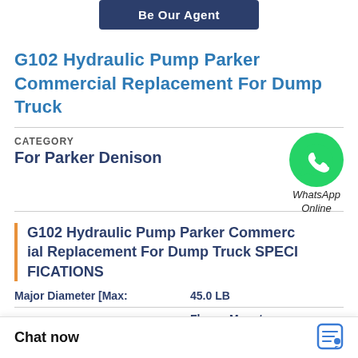[Figure (other): Dark blue rounded button labeled 'Be Our Agent']
G102 Hydraulic Pump Parker Commercial Replacement For Dump Truck
CATEGORY
For Parker Denison
[Figure (logo): WhatsApp green circle logo with phone icon, labeled 'WhatsApp Online']
G102 Hydraulic Pump Parker Commercial Replacement For Dump Truck SPECIFICATIONS
Major Diameter [Max:
45.0 LB
Flange Mount
Chat now